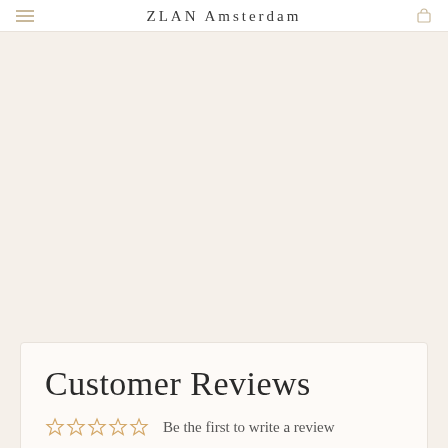ZLAN Amsterdam
Customer Reviews
Be the first to write a review